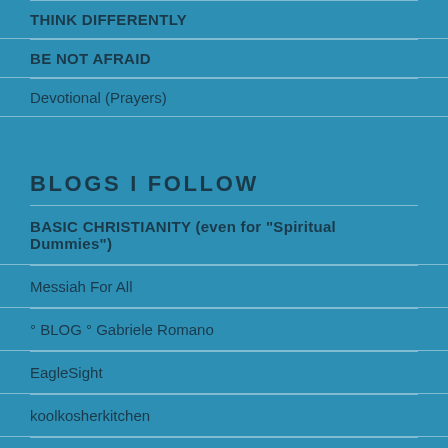THINK DIFFERENTLY
BE NOT AFRAID
Devotional (Prayers)
BLOGS I FOLLOW
BASIC CHRISTIANITY (even for "Spiritual Dummies")
Messiah For All
° BLOG ° Gabriele Romano
EagleSight
koolkosherkitchen
the lostkerryman
Mario Murillo Ministries
The...